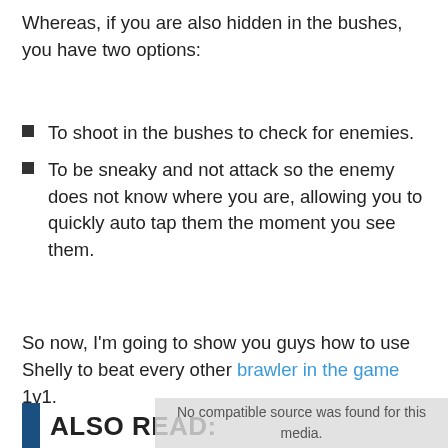Whereas, if you are also hidden in the bushes, you have two options:
To shoot in the bushes to check for enemies.
To be sneaky and not attack so the enemy does not know where you are, allowing you to quickly auto tap them the moment you see them.
So now, I'm going to show you guys how to use Shelly to beat every other brawler in the game 1v1.
ALSO READ:
[Figure (screenshot): Overlay showing 'No compatible source was found for this media.' with ad content showing SweetFrog restaurant options: Dine-in, Takeout, Delivery.]